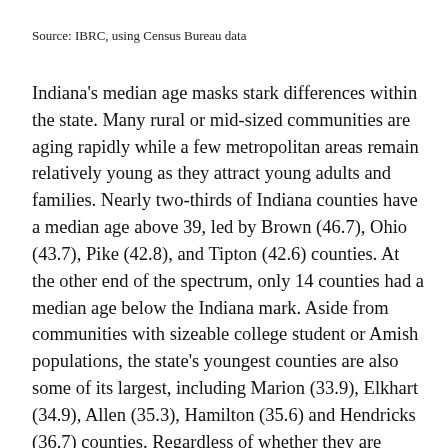Source: IBRC, using Census Bureau data
Indiana's median age masks stark differences within the state. Many rural or mid-sized communities are aging rapidly while a few metropolitan areas remain relatively young as they attract young adults and families. Nearly two-thirds of Indiana counties have a median age above 39, led by Brown (46.7), Ohio (43.7), Pike (42.8), and Tipton (42.6) counties. At the other end of the spectrum, only 14 counties had a median age below the Indiana mark. Aside from communities with sizeable college student or Amish populations, the state's youngest counties are also some of its largest, including Marion (33.9), Elkhart (34.9), Allen (35.3), Hamilton (35.6) and Hendricks (36.7) counties. Regardless of whether they are relatively young or old, each county saw its